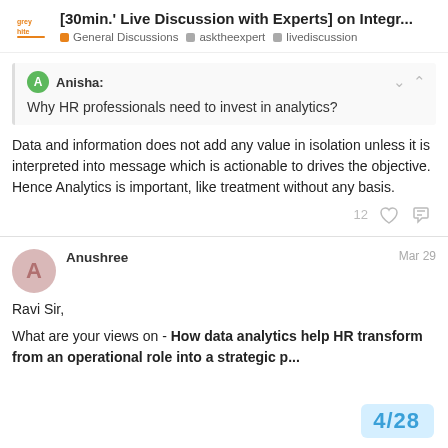[30min.' Live Discussion with Experts] on Integr...
General Discussions  asktheexpert  livediscussion
Anisha: Why HR professionals need to invest in analytics?
Data and information does not add any value in isolation unless it is interpreted into message which is actionable to drives the objective. Hence Analytics is important, like treatment without any basis.
12
Anushree  Mar 29
Ravi Sir,
What are your views on - How data analytics help HR transform from an operational role into a strategic p...